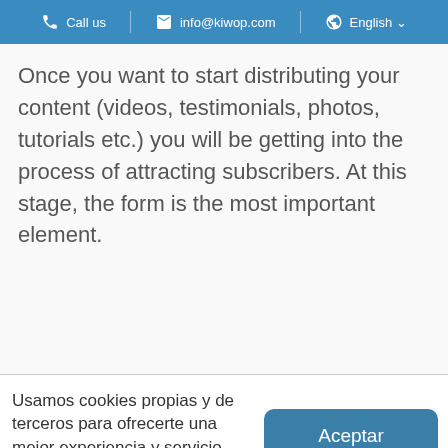Call us   info@kiwop.com   English
Once you want to start distributing your content (videos, testimonials, photos, tutorials etc.) you will be getting into the process of attracting subscribers. At this stage, the form is the most important element.
Usamos cookies propias y de terceros para ofrecerte una mejor experiencia y servicio. Más información.